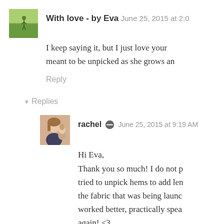With love - by Eva June 25, 2015 at 2:0[truncated]
I keep saying it, but I just love your meant to be unpicked as she grows an[truncated]
Reply
▾ Replies
[Figure (photo): Avatar photo of Eva - green field with person]
[Figure (photo): Avatar photo of rachel - woman with child]
rachel ⊘ June 25, 2015 at 9:19 AM
Hi Eva,
Thank you so much! I do not p tried to unpick hems to add len the fabric that was being launc worked better, practically spea again! <3